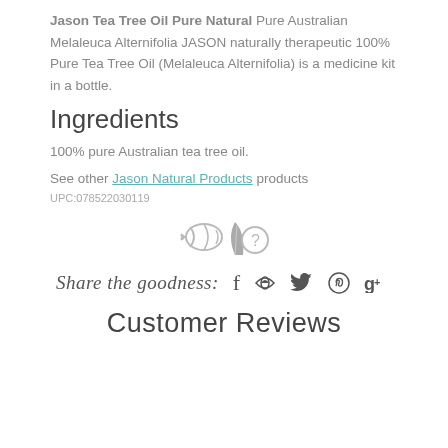Jason Tea Tree Oil Pure Natural Pure Australian Melaleuca Alternifolia JASON naturally therapeutic 100% Pure Tea Tree Oil (Melaleuca Alternifolia) is a medicine kit in a bottle.
Ingredients
100% pure Australian tea tree oil.
See other Jason Natural Products products
UPC:078522030119
[Figure (illustration): Three small grey icons: a stylized fish/leaf icon, a leaf icon, and a question mark circle icon]
Share the goodness: f (Facebook) (Twitter) (Pinterest) g+ (Google+)
Customer Reviews